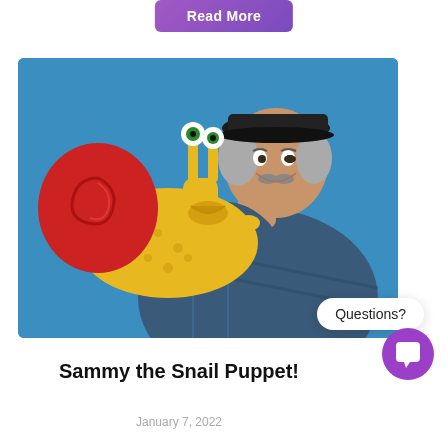Read More
[Figure (photo): Man holding a yellow snail puppet with a red shell on a blue background. The man wears a dark cap and plaid shirt and is smiling.]
Questions?
Sammy the Snail Puppet!
January 7, 2022